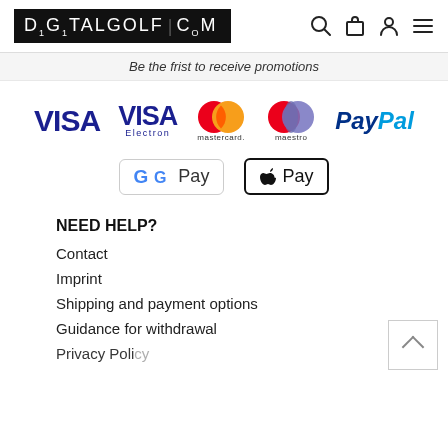DIGITALGOLF.COM
Be the frist to receive promotions
[Figure (logo): Payment method logos: VISA, VISA Electron, Mastercard, Maestro, PayPal, Google Pay, Apple Pay]
NEED HELP?
Contact
Imprint
Shipping and payment options
Guidance for withdrawal
Privacy Policy